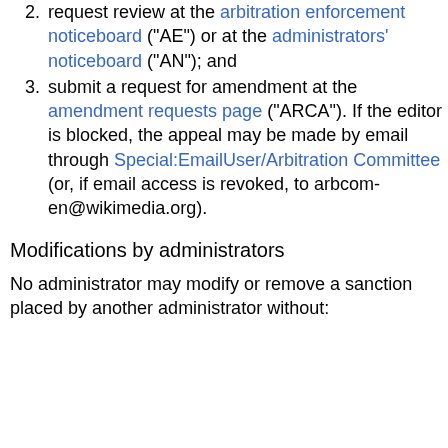2. request review at the arbitration enforcement noticeboard ("AE") or at the administrators' noticeboard ("AN"); and
3. submit a request for amendment at the amendment requests page ("ARCA"). If the editor is blocked, the appeal may be made by email through Special:EmailUser/Arbitration Committee (or, if email access is revoked, to arbcom-en@wikimedia.org).
Modifications by administrators
No administrator may modify or remove a sanction placed by another administrator without: